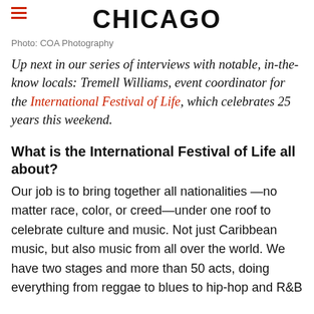CHICAGO
Photo: COA Photography
Up next in our series of interviews with notable, in-the-know locals: Tremell Williams, event coordinator for the International Festival of Life, which celebrates 25 years this weekend.
What is the International Festival of Life all about?
Our job is to bring together all nationalities —no matter race, color, or creed—under one roof to celebrate culture and music. Not just Caribbean music, but also music from all over the world. We have two stages and more than 50 acts, doing everything from reggae to blues to hip-hop and R&B